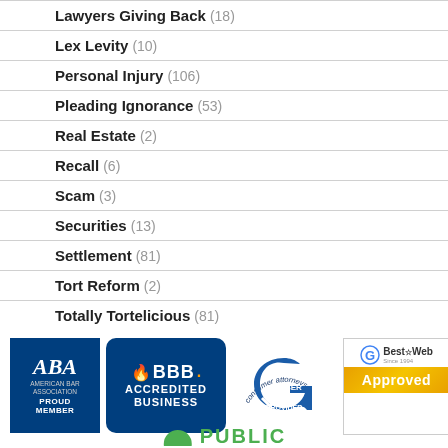Lawyers Giving Back (18)
Lex Levity (10)
Personal Injury (106)
Pleading Ignorance (53)
Real Estate (2)
Recall (6)
Scam (3)
Securities (13)
Settlement (81)
Tort Reform (2)
Totally Tortelicious (81)
Veterans (11)
Whistleblower (9)
[Figure (logo): ABA Proud Member badge, BBB Accredited Business badge, Consumer Attorneys Member Benefit Provider badge, Best of Web Approved badge, and partially visible PUBLIC text]